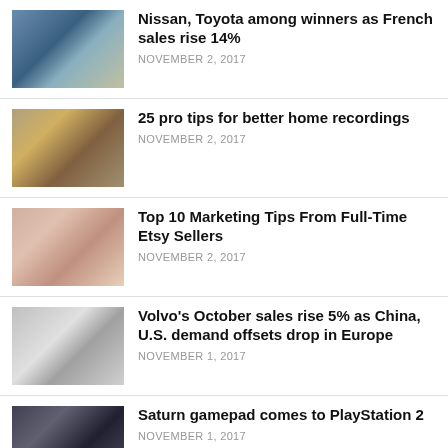Nissan, Toyota among winners as French sales rise 14% — NOVEMBER 2, 2017
25 pro tips for better home recordings — NOVEMBER 2, 2017
Top 10 Marketing Tips From Full-Time Etsy Sellers — NOVEMBER 2, 2017
Volvo's October sales rise 5% as China, U.S. demand offsets drop in Europe — NOVEMBER 1, 2017
Saturn gamepad comes to PlayStation 2 — NOVEMBER 1, 2017